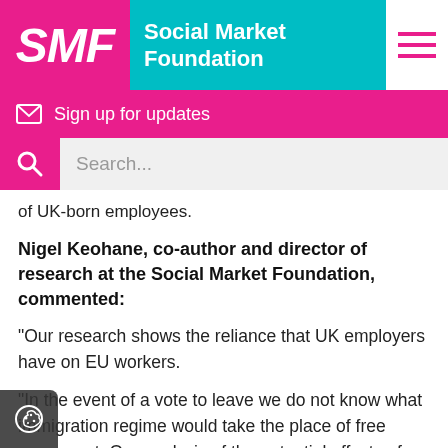[Figure (logo): Social Market Foundation (SMF) logo with pink block containing 'SMF' in white italic, teal block with 'Social Market Foundation' in white, and hamburger menu icon in pink on right]
[Figure (infographic): Pink bar with envelope icon and text 'Sign up for updates']
[Figure (infographic): Light grey search bar with pink search icon box on left and placeholder text 'Search...']
of UK-born employees.
Nigel Keohane, co-author and director of research at the Social Market Foundation, commented:
“Our research shows the reliance that UK employers have on EU workers.
“In the event of a vote to leave we do not know what immigration regime would take the place of free movement. Our analysis of the potential effects of